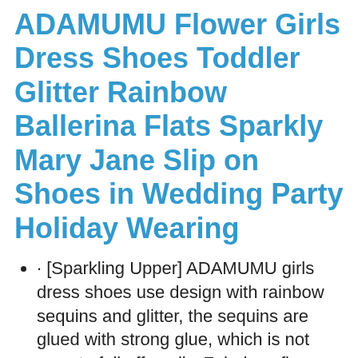ADAMUMU Flower Girls Dress Shoes Toddler Glitter Rainbow Ballerina Flats Sparkly Mary Jane Slip on Shoes in Wedding Party Holiday Wearing
· [Sparkling Upper] ADAMUMU girls dress shoes use design with rainbow sequins and glitter, the sequins are glued with strong glue, which is not easy to fall off easily. Fabulous fine sparkly glitter pastel colors of the rainbow always stand out from the crowd.
· [Soft Inner] These girls princess party shoes are made with soft lightly